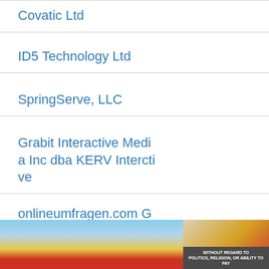Covatic Ltd
ID5 Technology Ltd
SpringServe, LLC
Grabit Interactive Media Inc dba KERV Interctive
onlineumfragen.com GmbH
[Figure (photo): Advertisement banner showing an airplane being loaded with cargo, featuring a Southwest Airlines plane with colorful tail and a dark overlay box with text 'WITHOUT REGARD TO POLITICS, RELIGION, OR ABILITY TO PAY']